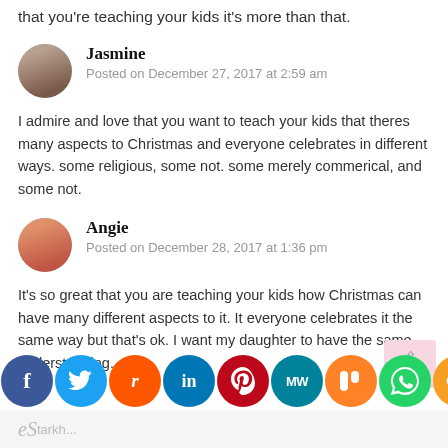that you're teaching your kids it's more than that.
Jasmine
Posted on December 27, 2017 at 2:59 am
I admire and love that you want to teach your kids that theres many aspects to Christmas and everyone celebrates in different ways. some religious, some not. some merely commerical, and some not.
Angie
Posted on December 28, 2017 at 1:36 pm
It's so great that you are teaching your kids how Christmas can have many different aspects to it. It everyone celebrates it the same way but that's ok. I want my daughter to have the same understanding.